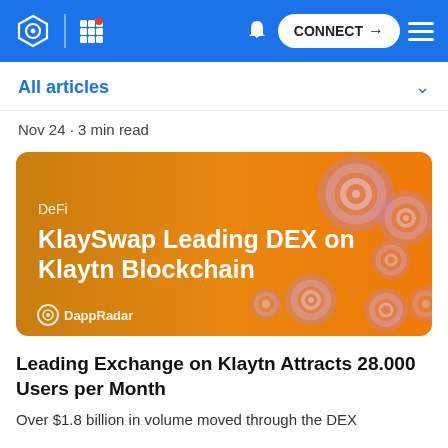CONNECT
All articles
Nov 24 · 3 min read
[Figure (illustration): DappRadar article banner with orange background and decorative spiral icons. Text reads: DeFi — KlaySwap Leading DEX on Klaytn Blockchain. DappRadar logo bottom left.]
Leading Exchange on Klaytn Attracts 28.000 Users per Month
Over $1.8 billion in volume moved through the DEX